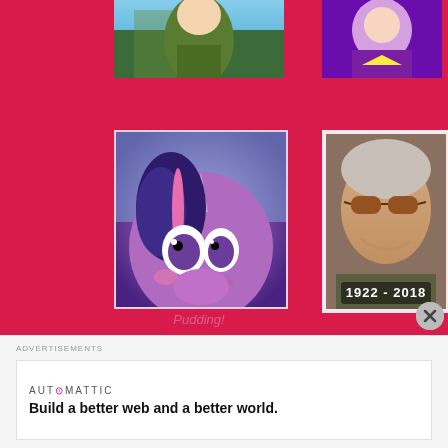[Figure (illustration): Partial cropped illustration of an anime-style female character in green coat against blue sky background]
[Figure (illustration): Partial cropped anime-style character in purple costume with white elements]
[Figure (illustration): My Little Pony character Twilight Sparkle with excited grinning expression, purple pony with dark mane]
[Figure (photo): Stan Lee smiling elderly man with sunglasses, with text overlay 1922 - 2018]
Pudding!
[Figure (screenshot): Dark image of Raphtalia character with text overlay: You've been blessed by the ear-flapping Raphtalia. She wishes that you have a good day/night.]
[Figure (illustration): Anime-style girl character with hat and glasses]
Advertisements
[Figure (logo): Automattic logo with text: Build a better web and a better world.]